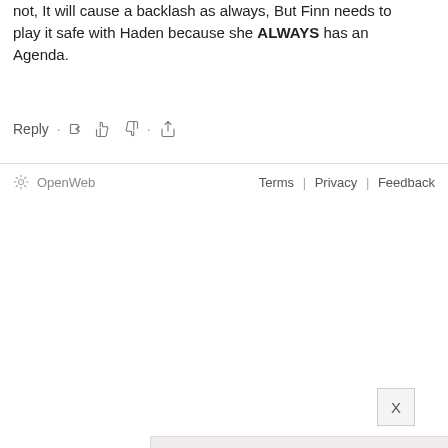not, It will cause a backlash as always, But Finn needs to play it safe with Haden because she ALWAYS has an Agenda.
Reply · 👍 👎 · Share
OpenWeb    Terms | Privacy | Feedback
[Figure (screenshot): Advertisement with pink/beige background showing text: 'Lose the trolls. Keep the comments.' with a close (X) button in blue in the top right corner.]